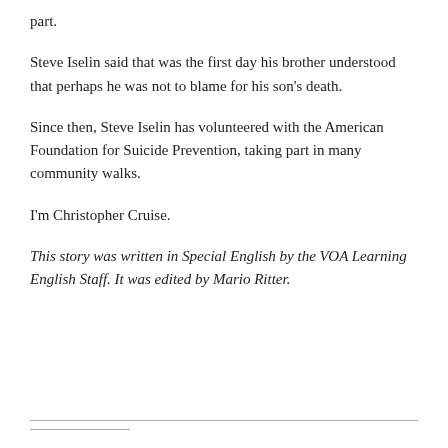part.
Steve Iselin said that was the first day his brother understood that perhaps he was not to blame for his son’s death.
Since then, Steve Iselin has volunteered with the American Foundation for Suicide Prevention, taking part in many community walks.
I’m Christopher Cruise.
This story was written in Special English by the VOA Learning English Staff. It was edited by Mario Ritter.